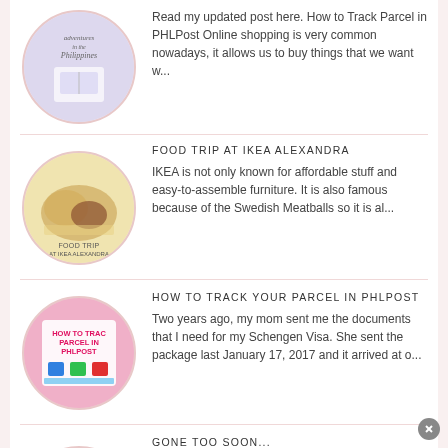Read my updated post here. How to Track Parcel in PHLPost Online shopping is very common nowadays, it allows us to buy things that we want w...
FOOD TRIP AT IKEA ALEXANDRA
IKEA is not only known for affordable stuff and easy-to-assemble furniture. It is also famous because of the Swedish Meatballs so it is al...
HOW TO TRACK YOUR PARCEL IN PHLPOST
Two years ago, my mom sent me the documents that I need for my Schengen Visa. She sent the package last January 17, 2017 and it arrived at o...
GONE TOO SOON...
I'm feeling overwhelmed these past three weeks, hence I have no blog post. I'm physically, mentally, and emotionally challenged. True enough...
AIR FRYER CHICHARON BULAKLAK